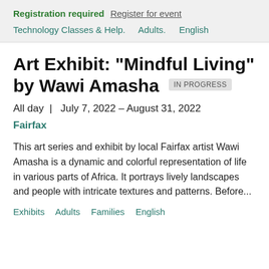Registration required  Register for event
Technology Classes & Help.  Adults.  English
Art Exhibit: "Mindful Living" by Wawi Amasha  IN PROGRESS
All day  |  July 7, 2022 – August 31, 2022
Fairfax
This art series and exhibit by local Fairfax artist Wawi Amasha is a dynamic and colorful representation of life in various parts of Africa. It portrays lively landscapes and people with intricate textures and patterns. Before...
Exhibits   Adults   Families   English